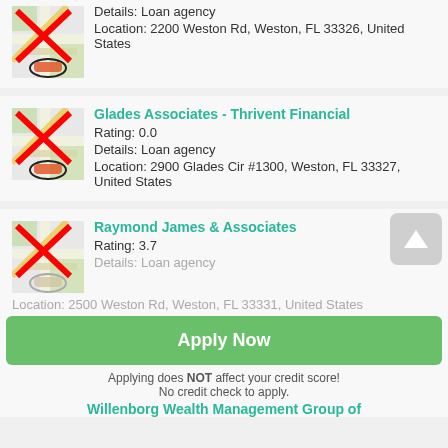[Figure (screenshot): Partial top card showing map thumbnail with crossed-out icon, details: Loan agency, Location: 2200 Weston Rd, Weston, FL 33326, United States]
Details: Loan agency
Location: 2200 Weston Rd, Weston, FL 33326, United States
Glades Associates - Thrivent Financial
Rating: 0.0
Details: Loan agency
Location: 2900 Glades Cir #1300, Weston, FL 33327, United States
Raymond James & Associates
Rating: 3.7
Details: Loan agency
Location: 2500 Weston Rd, Weston, FL 33331, United States
Apply Now
Applying does NOT affect your credit score! No credit check to apply.
Willenborg Wealth Management Group of